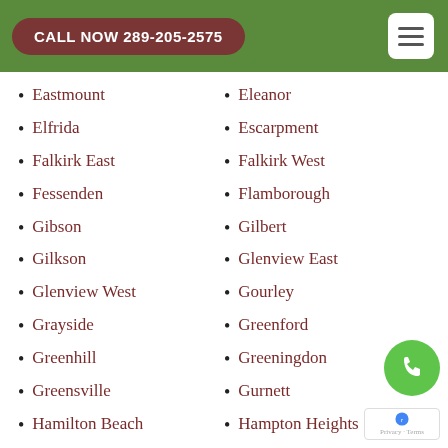CALL NOW 289-205-2575
Eastmount
Eleanor
Elfrida
Escarpment
Falkirk East
Falkirk West
Fessenden
Flamborough
Gibson
Gilbert
Gilkson
Glenview East
Glenview West
Gourley
Grayside
Greenford
Greenhill
Greeningdon
Greensville
Gurnett
Hamilton Beach
Hampton Heights
Hannon North
Hannon South
Hannon West
Harmony Hall
Heritage Green
Hill Park